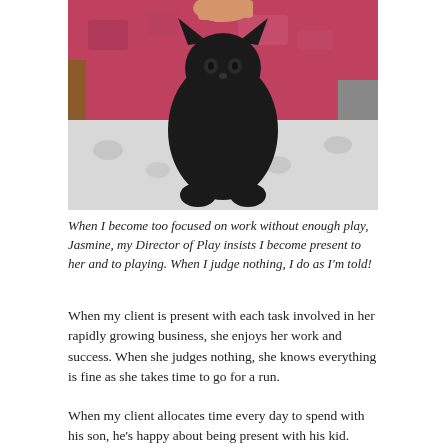[Figure (photo): A close-up photo of a black cat being held up by a human hand. The cat is seen from below. In the background there is a pink/red patterned rug, a wooden chair, and grey/white patterned fabric.]
When I become too focused on work without enough play, Jasmine, my Director of Play insists I become present to her and to playing. When I judge nothing, I do as I'm told!
When my client is present with each task involved in her rapidly growing business, she enjoys her work and success. When she judges nothing, she knows everything is fine as she takes time to go for a run.
When my client allocates time every day to spend with his son, he's happy about being present with his kid.